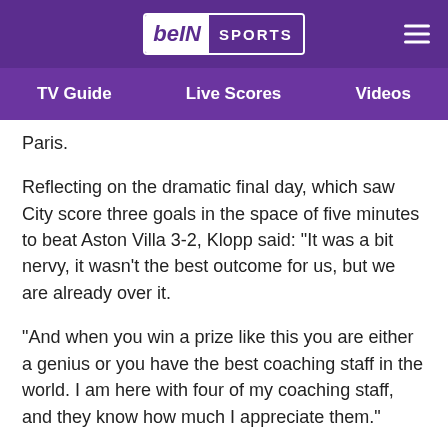beIN SPORTS
TV Guide   Live Scores   Videos
Paris.
Reflecting on the dramatic final day, which saw City score three goals in the space of five minutes to beat Aston Villa 3-2, Klopp said: "It was a bit nervy, it wasn't the best outcome for us, but we are already over it.
"And when you win a prize like this you are either a genius or you have the best coaching staff in the world. I am here with four of my coaching staff, and they know how much I appreciate them."
It is the second time Klopp has claimed the award, which is combined with the Premier League Manager of the Year